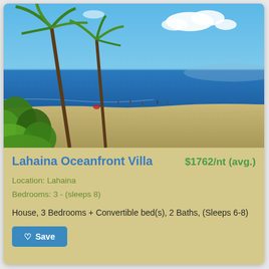[Figure (photo): Aerial view of Lahaina beach shoreline with palm trees, tropical vegetation, clear blue ocean water, sandy beach with people walking, and blue sky with clouds.]
Lahaina Oceanfront Villa
$1762/nt (avg.)
Location: Lahaina
Bedrooms: 3 - (sleeps 8)
House, 3 Bedrooms + Convertible bed(s), 2 Baths, (Sleeps 6-8)
Save